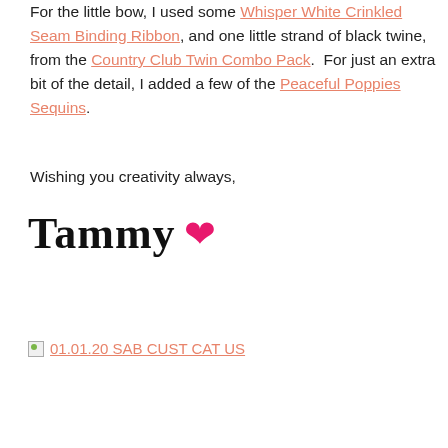For the little bow, I used some Whisper White Crinkled Seam Binding Ribbon, and one little strand of black twine, from the Country Club Twin Combo Pack.  For just an extra bit of the detail, I added a few of the Peaceful Poppies Sequins.
Wishing you creativity always,
[Figure (other): Handwritten signature 'Tammy' in cursive with a pink heart emoji]
[Figure (other): Broken image icon followed by a link labeled '01.01.20 SAB CUST CAT US']